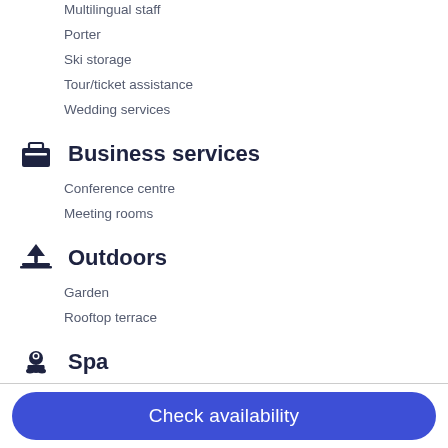Multilingual staff
Porter
Ski storage
Tour/ticket assistance
Wedding services
Business services
Conference centre
Meeting rooms
Outdoors
Garden
Rooftop terrace
Spa
10 treatment rooms
Aromatherapy
Check availability